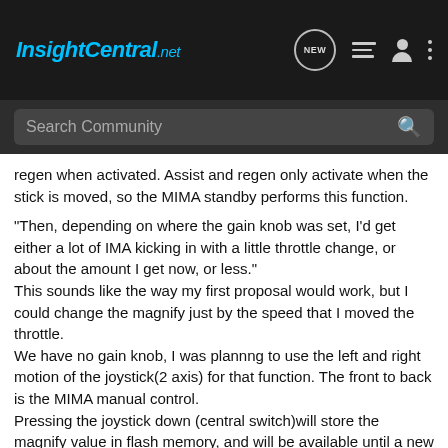InsightCentral.net
Search Community
regen when activated. Assist and regen only activate when the stick is moved, so the MIMA standby performs this function.
"Then, depending on where the gain knob was set, I’d get either a lot of IMA kicking in with a little throttle change, or about the amount I get now, or less."
This sounds like the way my first proposal would work, but I could change the magnify just by the speed that I moved the throttle.
We have no gain knob, I was plannng to use the left and right motion of the joystick(2 axis) for that function. The front to back is the MIMA manual control.
Pressing the joystick down (central switch)will store the magnify value in flash memory, and will be available until a new value is entered.